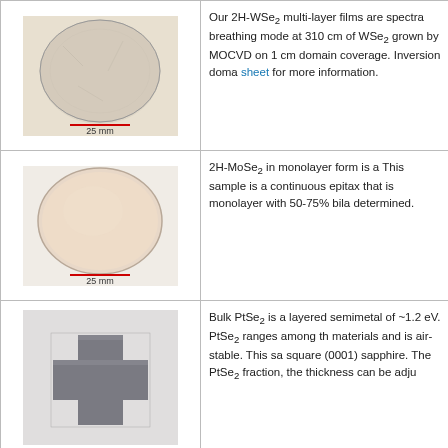[Figure (photo): Circular 2H-WSe2 multi-layer film on substrate, with 25 mm scale bar]
Our 2H-WSe2 multi-layer films are spectra breathing mode at 310 cm of WSe2 grown by MOCVD on 1 cm domain coverage. Inversion doma sheet for more information.
[Figure (photo): Circular 2H-MoSe2 monolayer film on substrate, with 25 mm scale bar]
2H-MoSe2 in monolayer form is a This sample is a continuous epitax that is monolayer with 50-75% bila determined.
[Figure (photo): Cross-shaped PtSe2 bulk tile on sapphire substrate]
Bulk PtSe2 is a layered semimetal of ~1.2 eV. PtSe2 ranges among th materials and is air-stable. This sa square (0001) sapphire. The PtSe2 fraction, the thickness can be adju